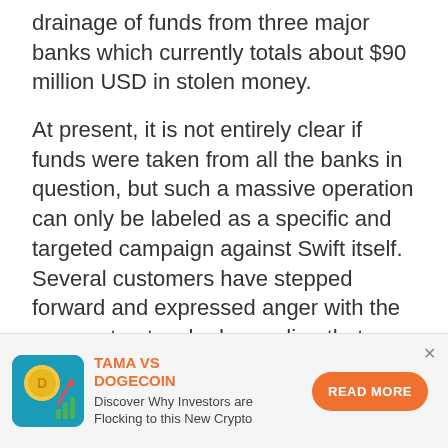drainage of funds from three major banks which currently totals about $90 million USD in stolen money.
At present, it is not entirely clear if funds were taken from all the banks in question, but such a massive operation can only be labeled as a specific and targeted campaign against Swift itself. Several customers have stepped forward and expressed anger with the payment network, demanding that security measures be strengthened, and for the moment, trust is ultimately being put to the test.
[Figure (infographic): Advertisement banner: TAMA VS DOGECOIN crypto ad with coin icon and bar chart graphic, text 'Discover Why Investors are Flocking to this New Crypto', orange READ MORE button]